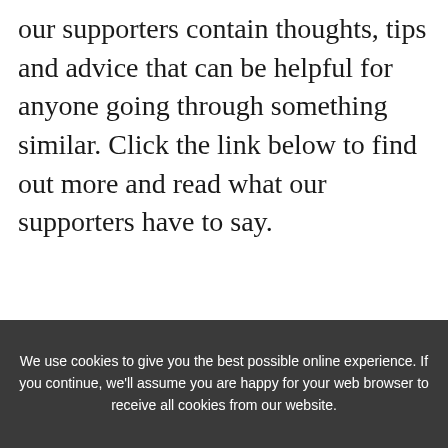our supporters contain thoughts, tips and advice that can be helpful for anyone going through something similar. Click the link below to find out more and read what our supporters have to say.
Find out more
We use cookies to give you the best possible online experience. If you continue, we'll assume you are happy for your web browser to receive all cookies from our website.